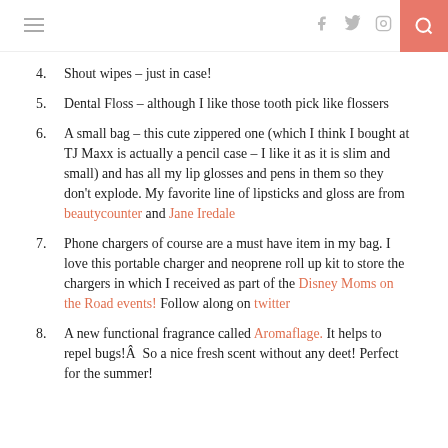Navigation bar with hamburger menu, social icons (f, twitter bird, instagram), and search button
4. Shout wipes – just in case!
5. Dental Floss – although I like those tooth pick like flossers
6. A small bag – this cute zippered one (which I think I bought at TJ Maxx is actually a pencil case – I like it as it is slim and small) and has all my lip glosses and pens in them so they don't explode. My favorite line of lipsticks and gloss are from beautycounter and Jane Iredale
7. Phone chargers of course are a must have item in my bag. I love this portable charger and neoprene roll up kit to store the chargers in which I received as part of the Disney Moms on the Road events! Follow along on twitter
8. A new functional fragrance called Aromaflage. It helps to repel bugs!Â  So a nice fresh scent without any deet! Perfect for the summer!